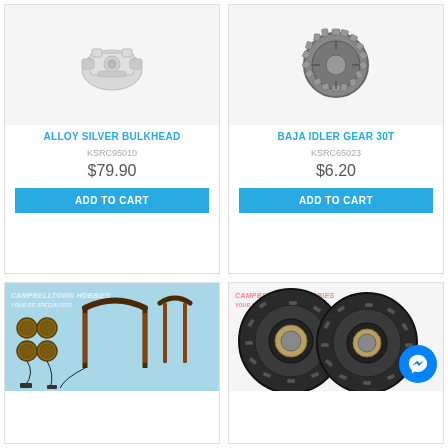[Figure (photo): Alloy silver bulkhead RC car part, metallic silver color]
ALLOY SILVER BULKHEAD
KSRC95010
$79.90
ADD TO CART
[Figure (photo): Baja idler gear 30T, metallic dark gear part]
BAJA IDLER GEAR 30T
KSRC65023
$6.20
ADD TO CART
[Figure (photo): RC car LED light kit with round lights and light bars with wiring, on light blue background. Campbelltown Hobbies watermark.]
[Figure (photo): RC car off-road tires/wheels pair, dark knobby tires. Campbelltown Hobbies watermark. Messenger button overlay.]